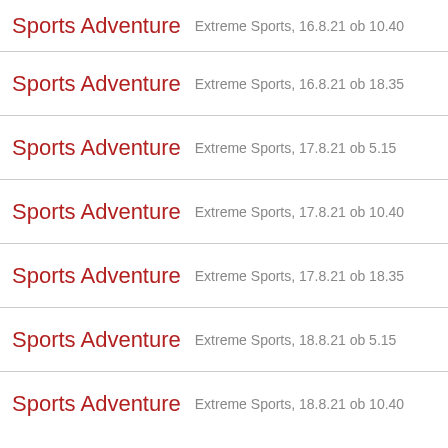Sports Adventure — Extreme Sports, 16.8.21 ob 10.40
Sports Adventure — Extreme Sports, 16.8.21 ob 18.35
Sports Adventure — Extreme Sports, 17.8.21 ob 5.15
Sports Adventure — Extreme Sports, 17.8.21 ob 10.40
Sports Adventure — Extreme Sports, 17.8.21 ob 18.35
Sports Adventure — Extreme Sports, 18.8.21 ob 5.15
Sports Adventure — Extreme Sports, 18.8.21 ob 10.40